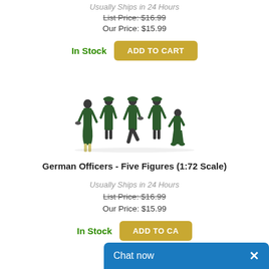Usually Ships in 24 Hours
List Price: $16.99
Our Price: $15.99
In Stock
[Figure (other): ADD TO CART button (gold/yellow rounded rectangle)]
[Figure (photo): Five miniature German officer figures in dark green uniforms at 1:72 scale, posed standing and kneeling]
German Officers - Five Figures (1:72 Scale)
Usually Ships in 24 Hours
List Price: $16.99
Our Price: $15.99
In Stock
[Figure (other): ADD TO CART button (gold/yellow) partially overlapped by Chat now button (blue)]